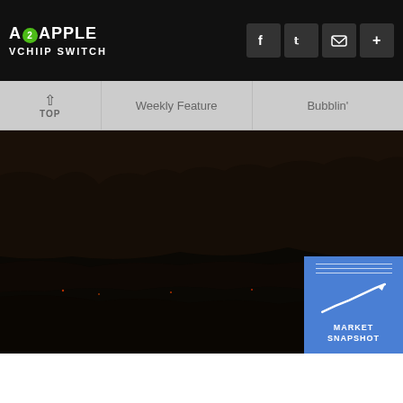A2APPLE VCHIIP SWITCH
[Figure (screenshot): Navigation bar with TOP, Weekly Feature, Bubblin' menu items]
[Figure (photo): Dark volcanic lava landscape with glowing orange embers and rock formations]
[Figure (infographic): Market Snapshot widget showing an upward trending line chart icon in blue square with text MARKET SNAPSHOT]